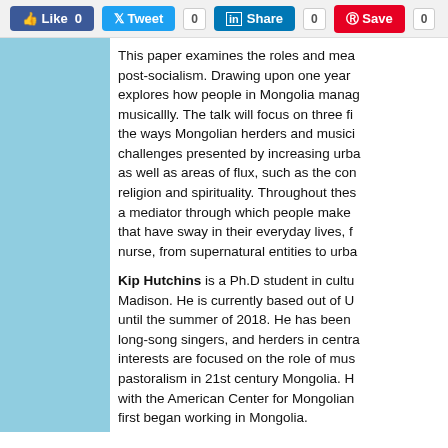Like 0  Tweet  0  Share  0  Save  0
This paper examines the roles and mea post-socialism. Drawing upon one year explores how people in Mongolia manag musicallly. The talk will focus on three fi the ways Mongolian herders and musici challenges presented by increasing urba as well as areas of flux, such as the con religion and spirituality. Throughout thes a mediator through which people make that have sway in their everyday lives, f nurse, from supernatural entities to urba
Kip Hutchins is a Ph.D student in cultu Madison. He is currently based out of U until the summer of 2018. He has been long-song singers, and herders in centra interests are focused on the role of mus pastoralism in 21st century Mongolia. H with the American Center for Mongolian first began working in Mongolia.
Speaker Series events are Co-Sponsore Ulaanbaatar
Dr. Ariell Ahern: "Disintegrations? Me in the Gobi Desert"